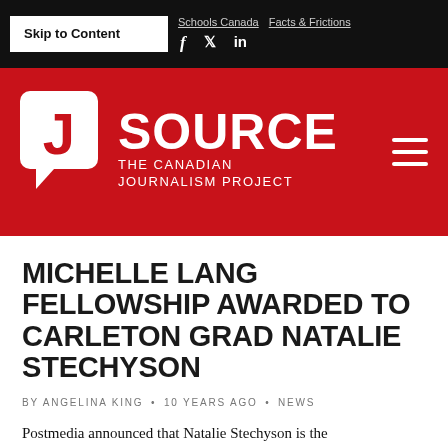Skip to Content | Schools Canada | Facts & Frictions
[Figure (logo): J Source – The Canadian Journalism Project logo in white on red background]
MICHELLE LANG FELLOWSHIP AWARDED TO CARLETON GRAD NATALIE STECHYSON
BY ANGELINA KING • 10 YEARS AGO • NEWS
Postmedia announced that Natalie Stechyson is the